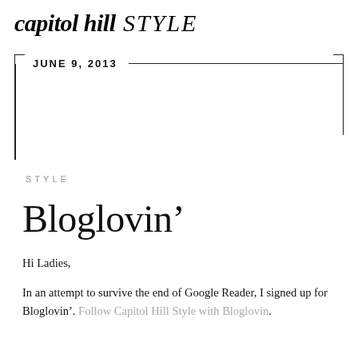capitol hill STYLE
JUNE 9, 2013
STYLE
Bloglovin’
Hi Ladies,

In an attempt to survive the end of Google Reader, I signed up for Bloglovin’. Follow Capitol Hill Style with Bloglovin.